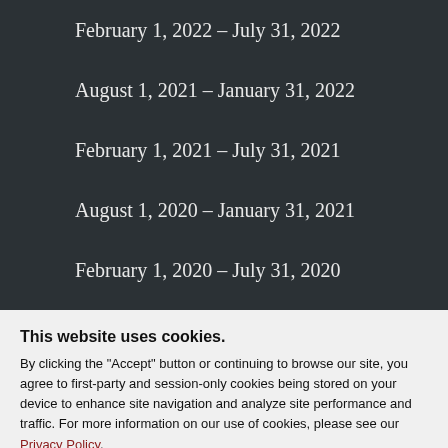February 1, 2022 - July 31, 2022
August 1, 2021 - January 31, 2022
February 1, 2021 - July 31, 2021
August 1, 2020 - January 31, 2021
February 1, 2020 - July 31, 2020
August 1, 2019 - January 31, 2020
This website uses cookies. By clicking the "Accept" button or continuing to browse our site, you agree to first-party and session-only cookies being stored on your device to enhance site navigation and analyze site performance and traffic. For more information on our use of cookies, please see our Privacy Policy.
August 1, 2017 - January 31, 2018
February 1, 2017 - July 31, 2017